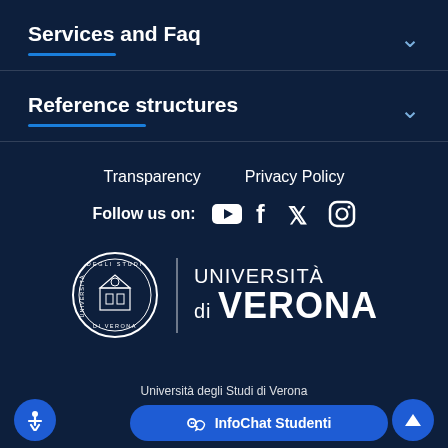Services and Faq
Reference structures
Transparency   Privacy Policy
Follow us on:
[Figure (logo): Università di Verona logo with seal and text UNIVERSITÀ di VERONA]
InfoChat Studenti
Università degli Studi di Verona